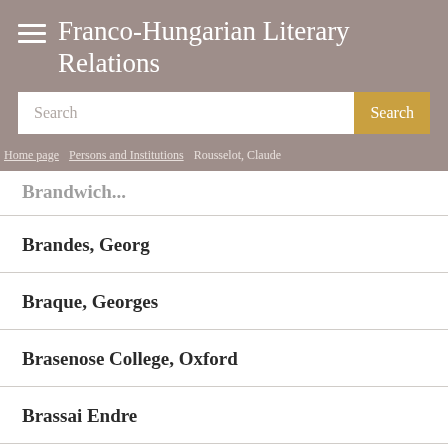Franco-Hungarian Literary Relations
Search
Home page > Persons and Institutions > Rousselot, Claude
Brandes, Georg
Braque, Georges
Brasenose College, Oxford
Brassai Endre